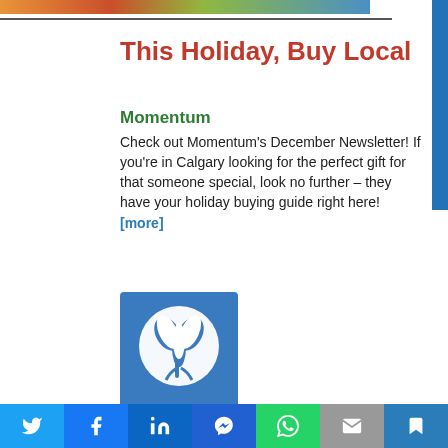[Figure (illustration): Colorful top banner strip image with orange, red, green hues]
This Holiday, Buy Local
Momentum
Check out Momentum's December Newsletter! If you're in Calgary looking for the perfect gift for that someone special, look no further – they have your holiday buying guide right here! [more]
[Figure (logo): Saul Good Gift Co logo: blue square background with white stylized plant/leaf icon]
Saul Good Gift Co
Saul Good Gift Co. is a gift basket business featuring the best tasting local artisan treats in Vancouver, BC and Toronto, ON. All items are
Social share bar: Twitter, Facebook, LinkedIn, Messenger, WhatsApp, Email, Bookmark